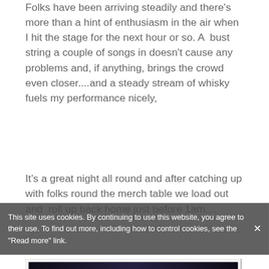Folks have been arriving steadily and there's more than a hint of enthusiasm in the air when I hit the stage for the next hour or so. A  bust string a couple of songs in doesn't cause any problems and, if anything, brings the crowd even closer....and a steady stream of whisky fuels my performance nicely,
It's a great night all round and after catching up with folks round the merch table we load out and  roll up back home just before 1am....
[Figure (photo): A performer playing guitar and singing into a microphone on a dark stage, lit by stage lighting. Visible signage in background.]
This site uses cookies. By continuing to use this website, you agree to their use. To find out more, including how to control cookies, see the "Read more" link.